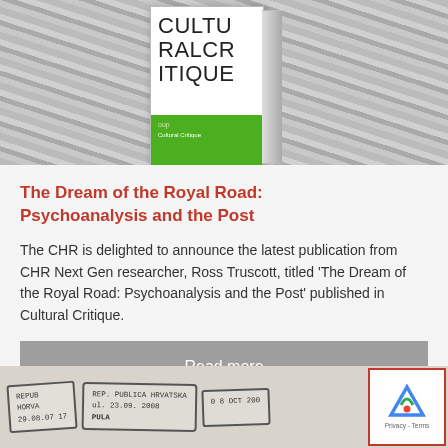[Figure (photo): A 3D rendered book titled 'Cultural Critique' with white upper cover showing large text CULTU RALCR ITIQUE and a green band at the bottom, set against a blurred grey background.]
The Dream of the Royal Road: Psychoanalysis and the Post
The CHR is delighted to announce the latest publication from CHR Next Gen researcher, Ross Truscott, titled 'The Dream of the Royal Road: Psychoanalysis and the Post' published in Cultural Critique.
Read more
[Figure (photo): Partial view of passport stamps at the bottom of the page, with a reCAPTCHA widget visible in the bottom right corner.]